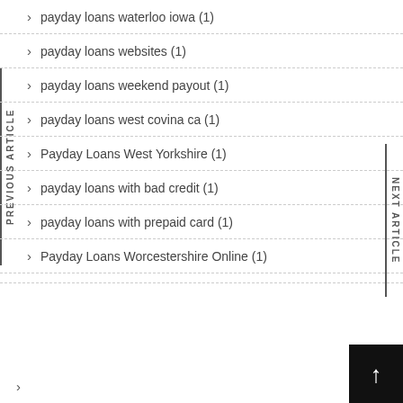payday loans waterloo iowa (1)
payday loans websites (1)
payday loans weekend payout (1)
payday loans west covina ca (1)
Payday Loans West Yorkshire (1)
payday loans with bad credit (1)
payday loans with prepaid card (1)
Payday Loans Worcestershire Online (1)